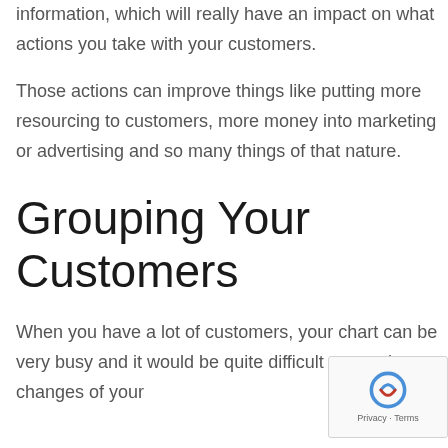information, which will really have an impact on what actions you take with your customers.
Those actions can improve things like putting more resourcing to customers, more money into marketing or advertising and so many things of that nature.
Grouping Your Customers
When you have a lot of customers, your chart can be very busy and it would be quite difficult to see the changes of your customers during operations. Moreover it